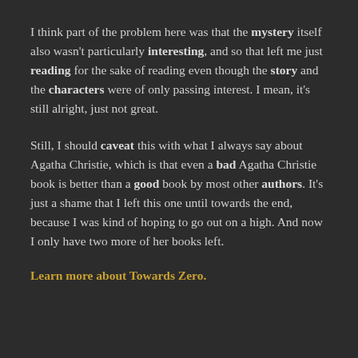I think part of the problem here was that the mystery itself also wasn't particularly interesting, and so that left me just reading for the sake of reading even though the story and the characters were of only passing interest. I mean, it's still alright, just not great.
Still, I should caveat this with what I always say about Agatha Christie, which is that even a bad Agatha Christie book is better than a good book by most other authors. It's just a shame that I left this one until towards the end, because I was kind of hoping to go out on a high. And now I only have two more of her books left.
Learn more about Towards Zero.